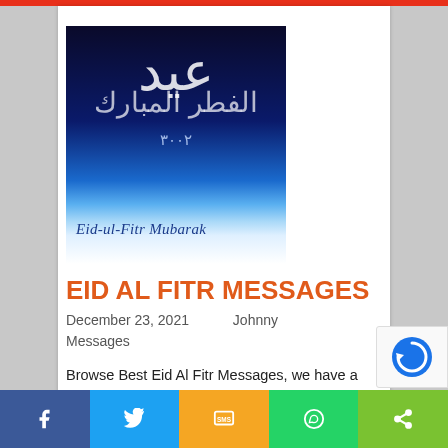[Figure (photo): Eid-ul-Fitr Mubarak greeting card image with Arabic calligraphy on dark blue background with gradient to light blue, text reading 'Eid-ul-Fitr Mubarak' in italic at the bottom]
EID AL FITR MESSAGES
December 23, 2021   Johnny
Messages
Browse Best Eid Al Fitr Messages, we have a special collection of superb, one line and short Eid Al Fitr Messages. Get Beautiful Eid Al Fitr Messages.